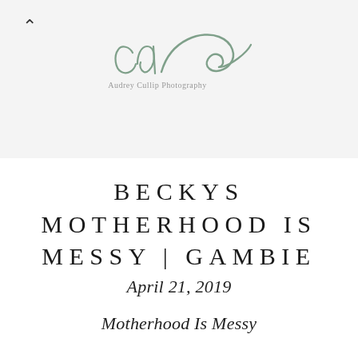[Figure (logo): CaC Audrey Cullip Photography logo — cursive 'caC' initials in muted sage green with text 'Audrey Cullip Photography' below]
BECKYS MOTHERHOOD IS MESSY | GAMBIE
April 21, 2019
Motherhood Is Messy